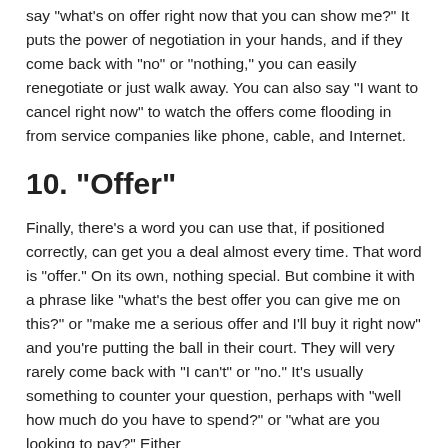say "what's on offer right now that you can show me?" It puts the power of negotiation in your hands, and if they come back with "no" or "nothing," you can easily renegotiate or just walk away. You can also say "I want to cancel right now" to watch the offers come flooding in from service companies like phone, cable, and Internet.
10. "Offer"
Finally, there's a word you can use that, if positioned correctly, can get you a deal almost every time. That word is "offer." On its own, nothing special. But combine it with a phrase like "what's the best offer you can give me on this?" or "make me a serious offer and I'll buy it right now" and you're putting the ball in their court. They will very rarely come back with "I can't" or "no." It's usually something to counter your question, perhaps with "well how much do you have to spend?" or "what are you looking to pay?" Either